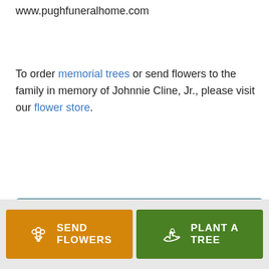www.pughfuneralhome.com
To order memorial trees or send flowers to the family in memory of Johnnie Cline, Jr., please visit our flower store.
[Figure (other): SEND A CARD button - teal/slate blue rectangular button with a card icon and text SEND A CARD]
Service Schedule
[Figure (other): Bottom action bar with two buttons: SEND FLOWERS (orange) and PLANT A TREE (green)]